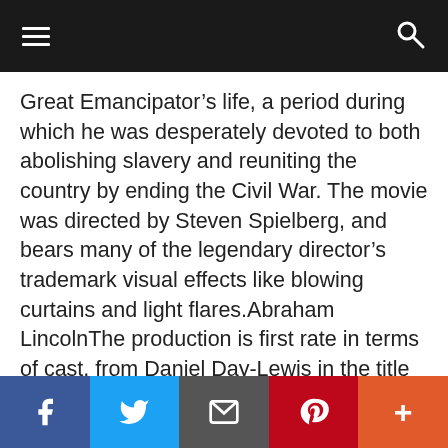Navigation bar with hamburger menu and search icon
Great Emancipator’s life, a period during which he was desperately devoted to both abolishing slavery and reuniting the country by ending the Civil War. The movie was directed by Steven Spielberg, and bears many of the legendary director’s trademark visual effects like blowing curtains and light flares.Abraham LincolnThe production is first rate in terms of cast, from Daniel Day-Lewis in the title role to a stellar supporting ensemble which includes Joseph Gordon-Levitt, Tommy Lee Jones, Sally Field, James Spader, David Strathairn, Gloria Reuben, S. Epatha Merkerson, Hal Holbrook, Tim Blake Nelson, John Hawkes, Jackie Earl Haley and Bruce McGill. Nor did Spielberg scrimp when it came
Social share bar: Facebook, Twitter, Email, Pinterest, More